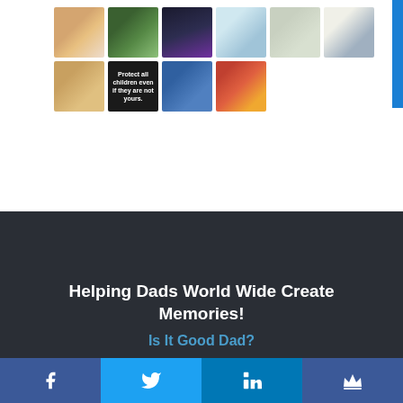[Figure (photo): Grid of social media photo thumbnails showing people, events, children, and community scenes. Top row has 6 photos, second row has 4 photos including a black card reading 'Protect all children even if they are not yours.']
Helping Dads World Wide Create Memories!
Is It Good Dad?
[Figure (infographic): Social media share bar with Facebook, Twitter, LinkedIn, and Crown/Mailer icons on colored backgrounds]